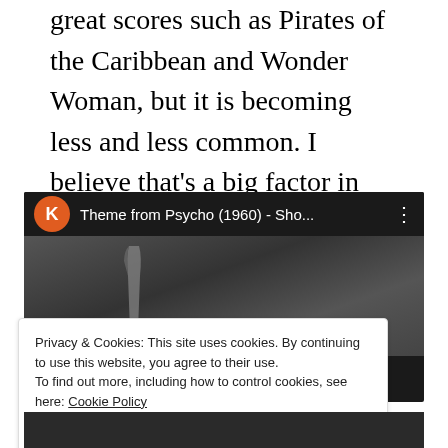great scores such as Pirates of the Caribbean and Wonder Woman, but it is becoming less and less common. I believe that's a big factor in why it is becoming less and less common for people to really remember and really talk about films that are 10-20 years old.
[Figure (screenshot): YouTube video player showing 'Theme from Psycho (1960) - Sho...' with orange K avatar icon, dark video frame with knife visible, and a cookie consent banner overlay with 'Close and accept' button]